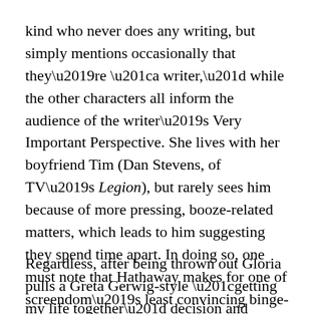kind who never does any writing, but simply mentions occasionally that they're “a writer,” while the other characters all inform the audience of the writer’s Very Important Perspective. She lives with her boyfriend Tim (Dan Stevens, of TV’s Legion), but rarely sees him because of more pressing, booze-related matters, which leads to him suggesting they spend time apart. In doing so, one must note that Hathaway makes for one of screendom’s least convincing binge-drinkers here, largely given the fact that the film seemingly goes out of its way to never depict her as anything but radiant and perfectly coifed. One wonders if she recently looked back on Rachel Getting Married and thought, “Alright, I’m not getting that messed up playing an addict again.”
Regardless, after being thrown out Gloria pulls a Greta Gerwig-style “getting my life together” decision and moves